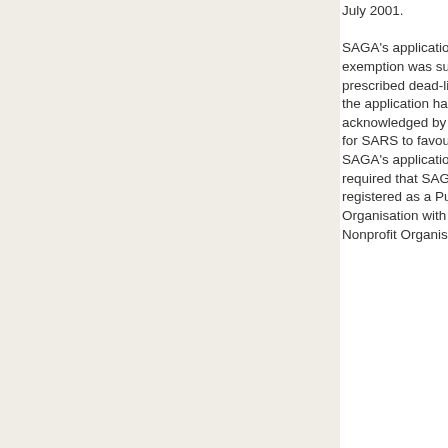July 2001. SAGA's application for tax exemption was submitted within the prescribed dead-line, and receipt of the application has been formally acknowledged by SARS. In order for SARS to favourably consider SAGA's application, it is also required that SAGA should be registered as a Public Benefit Organisation with the Directorate for Nonprofit Organisations by